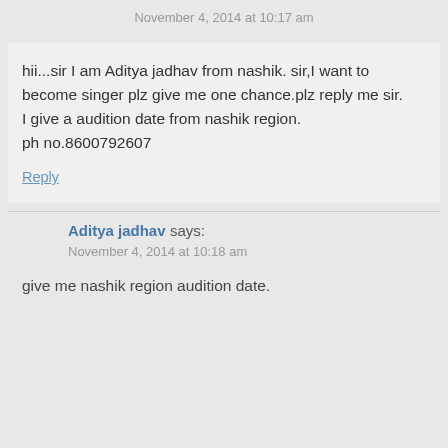November 4, 2014 at 10:17 am
hii...sir I am Aditya jadhav from nashik. sir,I want to become singer plz give me one chance.plz reply me sir.
I give a audition date from nashik region.
ph no.8600792607
Reply
Aditya jadhav says:
November 4, 2014 at 10:18 am
give me nashik region audition date.